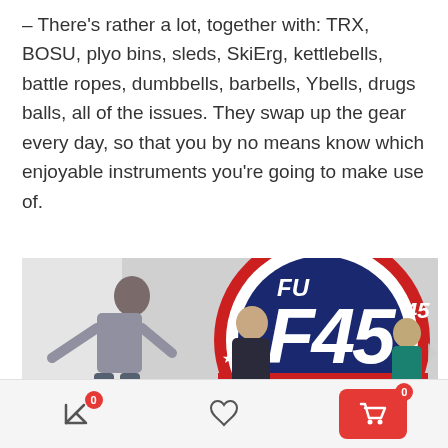– There's rather a lot, together with: TRX, BOSU, plyo bins, sleds, SkiErg, kettlebells, battle ropes, dumbbells, barbells, Ybells, drugs balls, all of the issues. They swap up the gear every day, so that you by no means know which enjoyable instruments you're going to make use of.
[Figure (photo): People working out at an F45 Training gym, using battle ropes in front of a large F45 Training logo on the wall.]